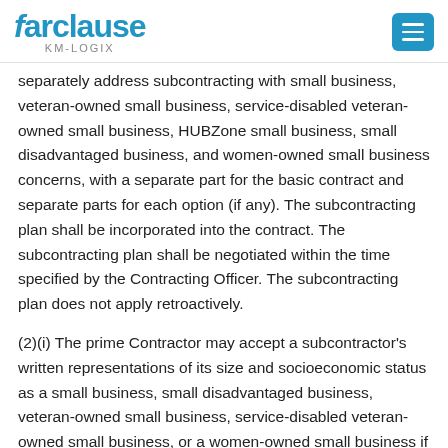farclause KM-LOGIX
separately address subcontracting with small business, veteran-owned small business, service-disabled veteran-owned small business, HUBZone small business, small disadvantaged business, and women-owned small business concerns, with a separate part for the basic contract and separate parts for each option (if any). The subcontracting plan shall be incorporated into the contract. The subcontracting plan shall be negotiated within the time specified by the Contracting Officer. The subcontracting plan does not apply retroactively.
(2)(i) The prime Contractor may accept a subcontractor's written representations of its size and socioeconomic status as a small business, small disadvantaged business, veteran-owned small business, service-disabled veteran-owned small business, or a women-owned small business if the subcontractor represents that the size and socioeconomic status representations with its offer are